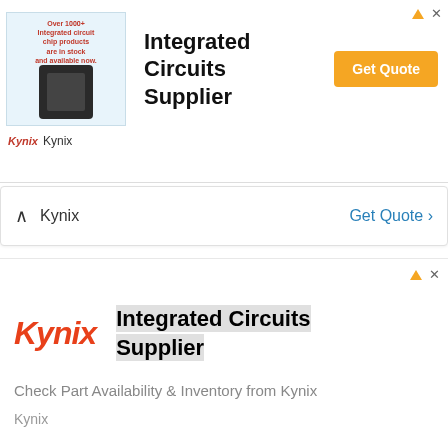[Figure (screenshot): Top advertisement banner for Kynix Integrated Circuits Supplier with chip image, title, and orange Get Quote button]
Kynix
[Figure (screenshot): Collapsed Kynix bar with caret up icon on left, Kynix text, and blue Get Quote link on right]
[Figure (screenshot): Second Kynix advertisement banner with large red Kynix logo, Integrated Circuits Supplier heading, description text]
Check Part Availability & Inventory from Kynix
Kynix